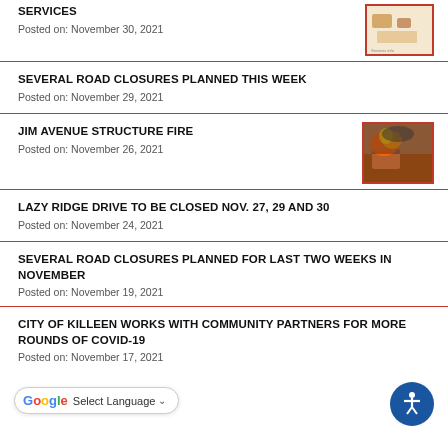SERVICES
Posted on: November 30, 2021
SEVERAL ROAD CLOSURES PLANNED THIS WEEK
Posted on: November 29, 2021
JIM AVENUE STRUCTURE FIRE
Posted on: November 26, 2021
LAZY RIDGE DRIVE TO BE CLOSED NOV. 27, 29 AND 30
Posted on: November 24, 2021
SEVERAL ROAD CLOSURES PLANNED FOR LAST TWO WEEKS IN NOVEMBER
Posted on: November 19, 2021
CITY OF KILLEEN WORKS WITH COMMUNITY PARTNERS FOR MORE ROUNDS OF COVID-19
Posted on: November 17, 2021